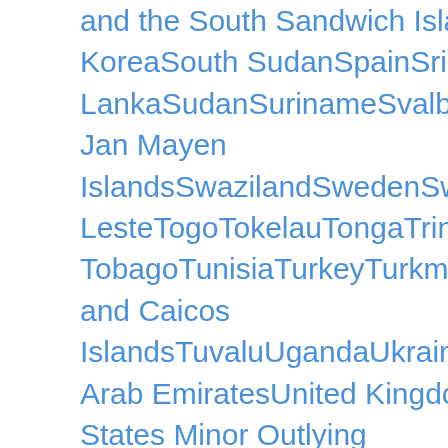and the South Sandwich IslandsSouth KoreaSouth SudanSpainSri LankaSudanSurinameSvalbard and Jan Mayen IslandsSwazilandSwedenSwitzerlandSyriaTaiwanTajikistanTanzaniaThailandTimor-LesteTogoTokelauTongaTrinidad and TobagoTunisiaTurkeyTurkmenistanTurks and Caicos IslandsTuvaluUgandaUkraineUnited Arab EmiratesUnited KingdomUnited States Minor Outlying IslandsUruguayUzbekistanVanuatuVatican CityVenezuelaVietnamVirgin Islands (British)Virgin Islands (U.S.)Wallis and Futuna IslandsWestern SaharaYemenZambiaZimbabwe   State...AlabamaAlaskaAmerican SamoaArizonaArkansasCaliforniaColoradoConnecticutDelawareFederated States Of MicronesiaFloridaGeorgiaGuamHawaiiIdahoIllinoisIndianaIowaKansasKentuckyLouisianaMaineMarshall IslandsMarylandMassachusettsMichigan MinnesotaMississippiMissouriMontanaN